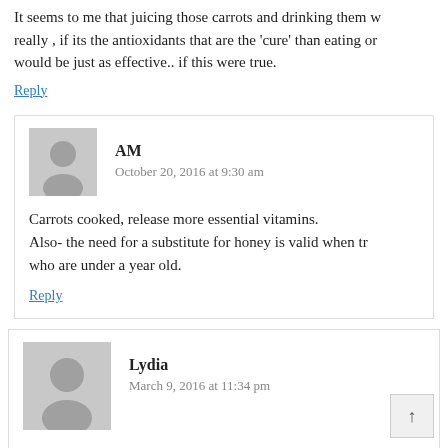It seems to me that juicing those carrots and drinking them w... really , if its the antioxidants that are the 'cure' than eating or... would be just as effective.. if this were true.
Reply
AM
October 20, 2016 at 9:30 am
Carrots cooked, release more essential vitamins. Also- the need for a substitute for honey is valid when tr... who are under a year old.
Reply
Lydia
March 9, 2016 at 11:34 pm